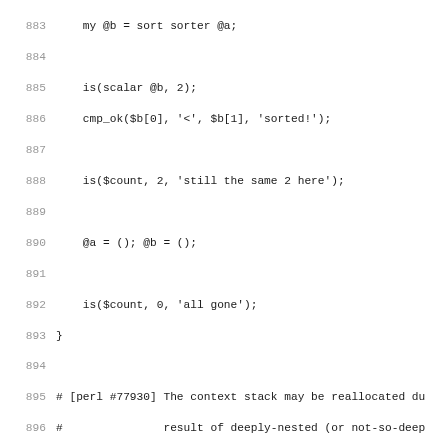Source code listing lines 883-914, Perl test file
883     my @b = sort sorter @a;
884
885     is(scalar @b, 2);
886     cmp_ok($b[0], '<', $b[1], 'sorted!');
887
888     is($count, 2, 'still the same 2 here');
889
890     @a = (); @b = ();
891
892     is($count, 0, 'all gone');
893 }
894
895 # [perl #77930] The context stack may be reallocated du
896 #               result of deeply-nested (or not-so-deep
897 #               from a custom sort subroutine.
898 fresh_perl_is
899 '
900     $sub = sub {
901      local $count = $count+1;
902      ()->$sub if $count < 1000;
903      $a cmp $b
904     };
905     () = sort $sub qw<a b c d e f g>;
906     print "ok"
907 ',
908 'ok',
909 {},
910 '[perl #77930] cx_stack reallocation during sort'
911 ;
912
913 # [perl #76026]
914 # Match vars should not leak from one sort sub call to